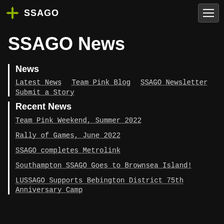SSAGO
SSAGO News
News
Latest News
Team Pink Blog
SSAGO Newsletter
Submit a Story
Recent News
Team Pink Weekend, Summer 2022
Rally of Games, June 2022
SSAGO completes Metrolink
Southampton SSAGO Goes to Brownsea Island!
LUSSAGO Supports Bebington District 75th Anniversary Camp